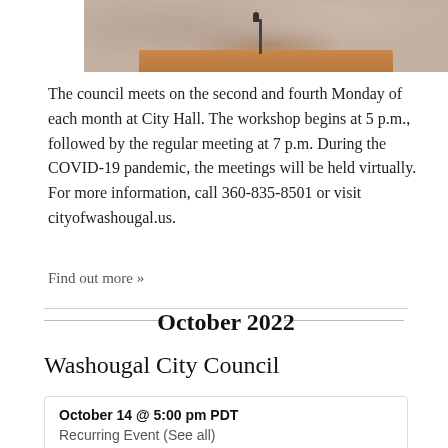[Figure (photo): Blurred photo of a city council meeting with a podium and microphone in the foreground]
The council meets on the second and fourth Monday of each month at City Hall. The workshop begins at 5 p.m., followed by the regular meeting at 7 p.m. During the COVID-19 pandemic, the meetings will be held virtually. For more information, call 360-835-8501 or visit cityofwashougal.us.
Find out more »
October 2022
Washougal City Council
| October 14 @ 5:00 pm PDT |
| Recurring Event (See all) |